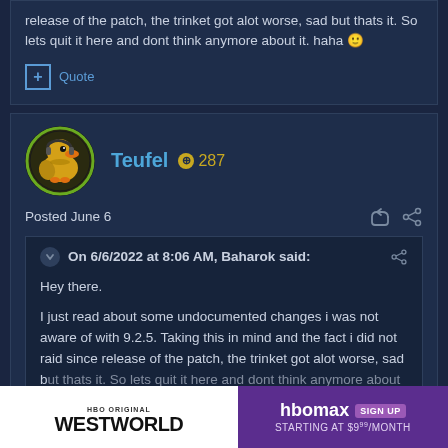release of the patch, the trinket got alot worse, sad but thats it. So lets quit it here and dont think anymore about it. haha 🙂
+ Quote
[Figure (screenshot): User avatar for Teufel - cartoon duck character in circular frame]
Teufel ⊕ 287
Posted June 6
On 6/6/2022 at 8:06 AM, Baharok said:
Hey there.

I just read about some undocumented changes i was not aware of with 9.2.5. Taking this in mind and the fact i did not raid since release of the patch, the trinket got alot worse, sad but thats it. So lets quit it here and dont think anymore about it.
[Figure (screenshot): HBO Max advertisement banner - Westworld show ad on left, HBO Max sign up starting at $9.99/month on right]